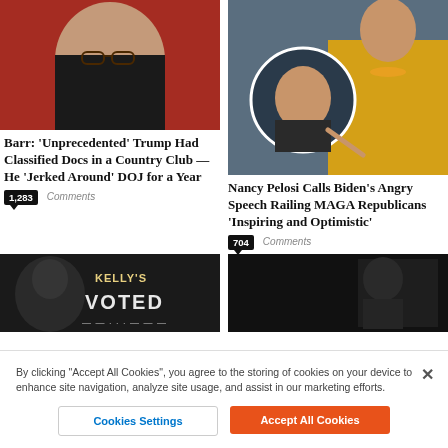[Figure (photo): Man in dark suit with glasses, red background]
Barr: ‘Unprecedented’ Trump Had Classified Docs in a Country Club — He ‘Jerked Around’ DOJ for a Year
1,283 Comments
[Figure (photo): Nancy Pelosi in yellow jacket with Joe Biden inset in circle]
Nancy Pelosi Calls Biden’s Angry Speech Railing MAGA Republicans ‘Inspiring and Optimistic’
704 Comments
[Figure (photo): Dark image with text KELLY'S VOTED]
[Figure (photo): Dark image, partially visible]
By clicking “Accept All Cookies”, you agree to the storing of cookies on your device to enhance site navigation, analyze site usage, and assist in our marketing efforts.
Cookies Settings
Accept All Cookies